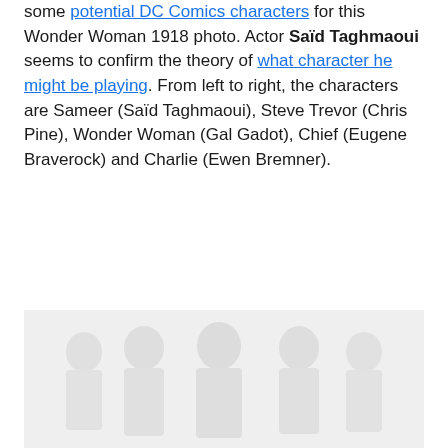some potential DC Comics characters for this Wonder Woman 1918 photo. Actor Saïd Taghmaoui seems to confirm the theory of what character he might be playing. From left to right, the characters are Sameer (Saïd Taghmaoui), Steve Trevor (Chris Pine), Wonder Woman (Gal Gadot), Chief (Eugene Braverock) and Charlie (Ewen Bremner).
[Figure (photo): A faded/washed-out group photo showing five characters from Wonder Woman (1918 setting). The image is very light/desaturated, showing silhouettes and outlines of the group of people.]